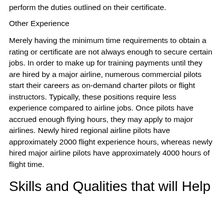perform the duties outlined on their certificate.
Other Experience
Merely having the minimum time requirements to obtain a rating or certificate are not always enough to secure certain jobs. In order to make up for training payments until they are hired by a major airline, numerous commercial pilots start their careers as on-demand charter pilots or flight instructors. Typically, these positions require less experience compared to airline jobs. Once pilots have accrued enough flying hours, they may apply to major airlines. Newly hired regional airline pilots have approximately 2000 flight experience hours, whereas newly hired major airline pilots have approximately 4000 hours of flight time.
Skills and Qualities that will Help